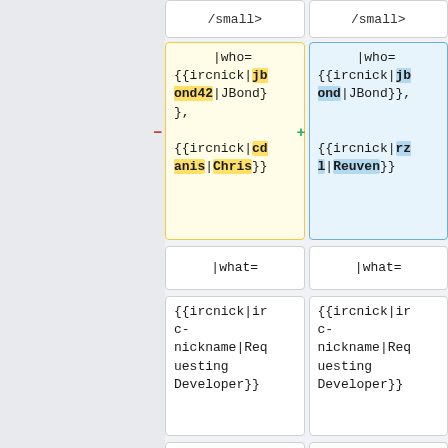/small>  /small>
|who=
{{ircnick|jbond42|JBond}},
{{ircnick|cdanis|Chris}}
|who=
{{ircnick|jbond|JBond}},

{{ircnick|rzl|Reuven}}
|what=
|what=
{{ircnick|irc-nickname|Requesting Developer}}
{{ircnick|irc-nickname|Requesting Developer}}
* ''Gerrit link to Puppet change''
* ''Gerrit link to Puppet change''
}}|
}}